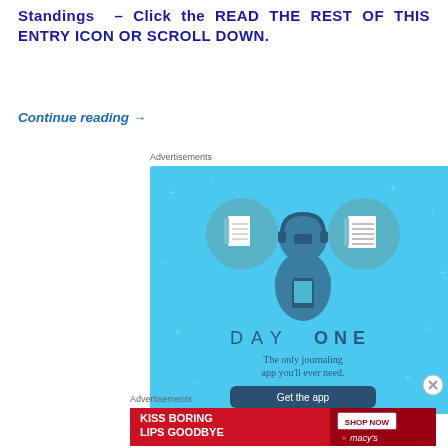Standings – Click the READ THE REST OF THIS ENTRY ICON OR SCROLL DOWN.
Continue reading →
Advertisements
[Figure (illustration): Day One app advertisement — light blue background with illustrated character holding phone, flanked by notebook and list icons. Text: DAY ONE — The only journaling app you'll ever need. Button: Get the app]
Advertisements
[Figure (illustration): Macys advertisement — red background with woman's face showing red lips. Text: KISS BORING LIPS GOODBYE. SHOP NOW. Macy's star logo.]